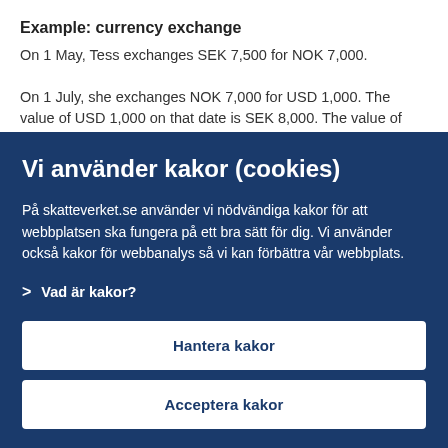Example: currency exchange
On 1 May, Tess exchanges SEK 7,500 for NOK 7,000.

On 1 July, she exchanges NOK 7,000 for USD 1,000. The value of USD 1,000 on that date is SEK 8,000. The value of NOK 7,000 is
Vi använder kakor (cookies)
På skatteverket.se använder vi nödvändiga kakor för att webbplatsen ska fungera på ett bra sätt för dig. Vi använder också kakor för webbanalys så vi kan förbättra vår webbplats.
> Vad är kakor?
Hantera kakor
Acceptera kakor